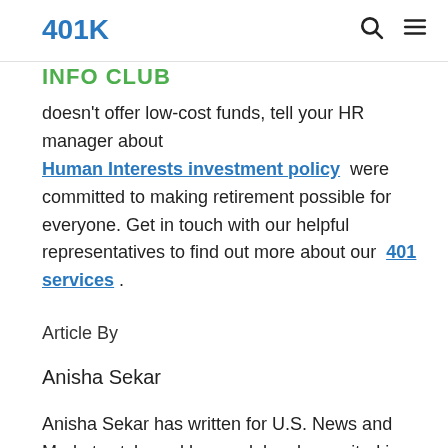401K INFO CLUB
doesn't offer low-cost funds, tell your HR manager about Human Interests investment policy were committed to making retirement possible for everyone. Get in touch with our helpful representatives to find out more about our 401 services .
Article By
Anisha Sekar
Anisha Sekar has written for U.S. News and Marketwatch, and her work has been cited in Time, Marketplace, CNN and more. A personal finance enthusiast, she led NerdWallet's credit and debit card business, and currently writes about everything from getting out of debt to choosing the best